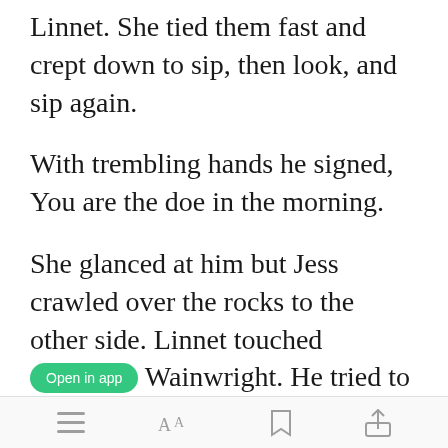Linnet. She tied them fast and crept down to sip, then look, and sip again.
With trembling hands he signed, You are the doe in the morning.
She glanced at him but Jess crawled over the rocks to the other side. Linnet touched Wainwright. He tried to walk, but stumbled and
Open in app [toolbar icons]